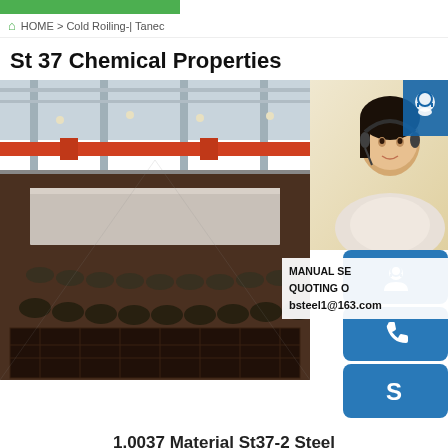HOME > Cold Roiling-| Tanec
St 37 Chemical Properties
[Figure (photo): Industrial steel rolling mill factory floor with conveyor rollers and steel sheets, overhead cranes visible, wide interior space]
[Figure (photo): Customer service representative (Asian woman with headset) alongside blue icon buttons for chat, phone, and Skype, with contact overlay showing MANUAL SE... QUOTING O... bsteel1@163.com]
MANUAL SE... QUOTING O... bsteel1@163.com
1.0037 Material St37-2 Steel
Technical properties